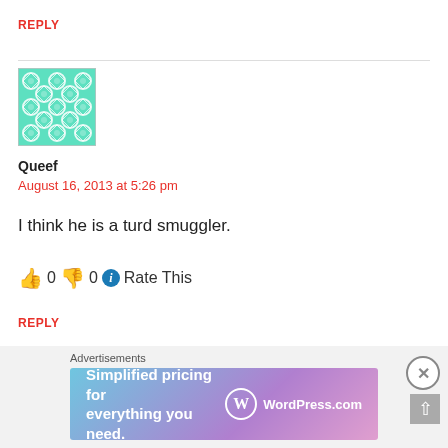REPLY
[Figure (illustration): Teal and white geometric pattern avatar image for user Queef]
Queef
August 16, 2013 at 5:26 pm
I think he is a turd smuggler.
👍 0 👎 0 ℹ Rate This
REPLY
[Figure (illustration): Partial avatar image at bottom, green/khaki geometric pattern, partially visible]
Advertisements
[Figure (screenshot): WordPress.com advertisement banner: 'Simplified pricing for everything you need.' with WordPress.com logo on gradient background]